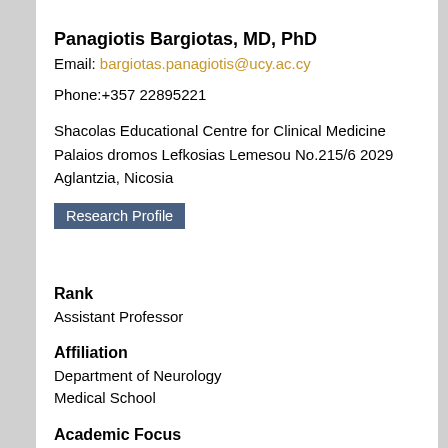Panagiotis Bargiotas, MD, PhD
Email: bargiotas.panagiotis@ucy.ac.cy
Phone:+357 22895221
Shacolas Educational Centre for Clinical Medicine
Palaios dromos Lefkosias Lemesou No.215/6 2029 Aglantzia, Nicosia
Research Profile
Rank
Assistant Professor
Affiliation
Department of Neurology
Medical School
Academic Focus
Sleep-Wake Disturbances, Sleep Physiology
Morbus Parkinson and Neurodegenerative Diseases
Deep Brain Stimulation